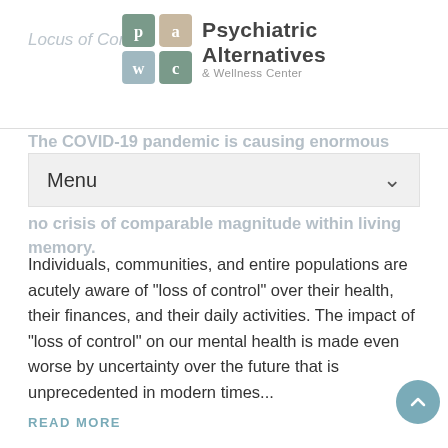Locus of Control | Psychiatric Alternatives & Wellness Center
The COVID-19 pandemic is causing enormous stress for
Menu
no crisis of comparable magnitude within living memory. Individuals, communities, and entire populations are acutely aware of "loss of control" over their health, their finances, and their daily activities. The impact of "loss of control" on our mental health is made even worse by uncertainty over the future that is unprecedented in modern times...
READ MORE
[Figure (photo): Close-up photo of a person sitting in a meditation/yoga pose with hands resting on knees in mudra position, wearing dark pants and white top, indoor setting with blurred background]